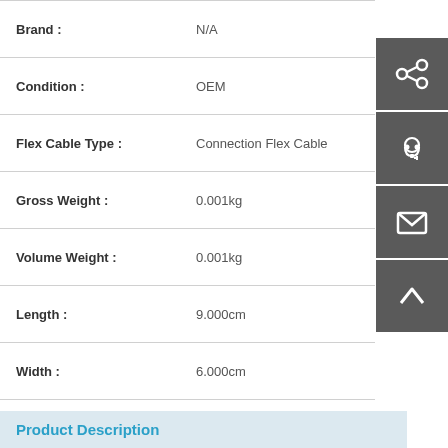| Attribute | Value |
| --- | --- |
| Brand : | N/A |
| Condition : | OEM |
| Flex Cable Type : | Connection Flex Cable |
| Gross Weight : | 0.001kg |
| Volume Weight : | 0.001kg |
| Length : | 9.000cm |
| Width : | 6.000cm |
| Height : | 0.100cm |
| Weight : | 0.001kg |
| EAN : |  |
| With Retail Packaging : | No |
Product Description